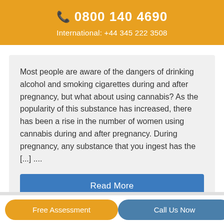📞 0800 140 4690
International: +44 345 222 3508
Most people are aware of the dangers of drinking alcohol and smoking cigarettes during and after pregnancy, but what about using cannabis? As the popularity of this substance has increased, there has been a rise in the number of women using cannabis during and after pregnancy. During pregnancy, any substance that you ingest has the [...] ....
Read More
Free Assessment   Call Us Now